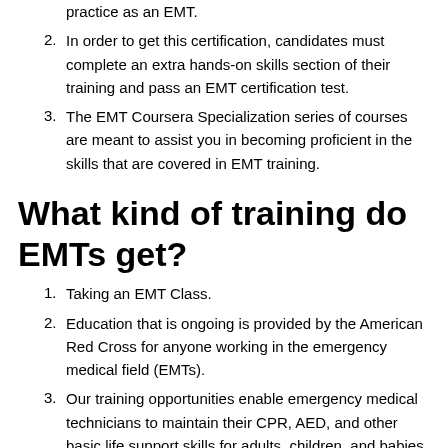practice as an EMT.
In order to get this certification, candidates must complete an extra hands-on skills section of their training and pass an EMT certification test.
The EMT Coursera Specialization series of courses are meant to assist you in becoming proficient in the skills that are covered in EMT training.
What kind of training do EMTs get?
Taking an EMT Class.
Education that is ongoing is provided by the American Red Cross for anyone working in the emergency medical field (EMTs).
Our training opportunities enable emergency medical technicians to maintain their CPR, AED, and other basic life support skills for adults, children, and babies.
These training opportunities are delivered as a part of our